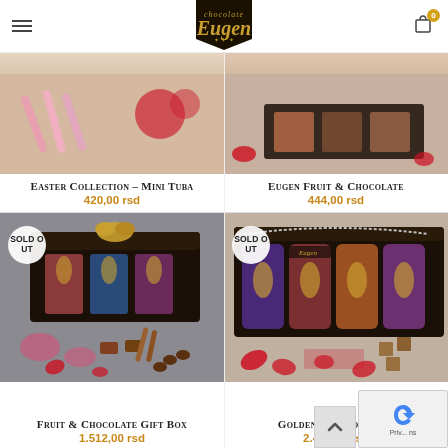Chocolate Eugen – navigation header with logo and cart
[Figure (photo): Top portion of Easter Collection Mini Tuba product image, partially visible (cropped)]
Easter Collection – Mini Tuba
420,00 rsd
[Figure (photo): Top portion of Eugen Fruit & Chocolate product image, partially visible (cropped)]
Eugen Fruit & Chocolate
444,00 rsd
[Figure (photo): Fruit & Chocolate Gift Box product image with SOLD OUT badge. Shows dark gift box with chocolate jars, surrounded by fruit chocolates, cinnamon sticks and rose petals.]
Fruit & Chocolate Gift Box
1.512,00 rsd
[Figure (photo): Golden Symphony Box product image with SOLD OUT badge. Shows dark gift box with tall cylindrical chocolate tubes and gold decorations, with red rose petals and chocolate pieces around.]
Golden Symphony Box
2.460,00 rsd